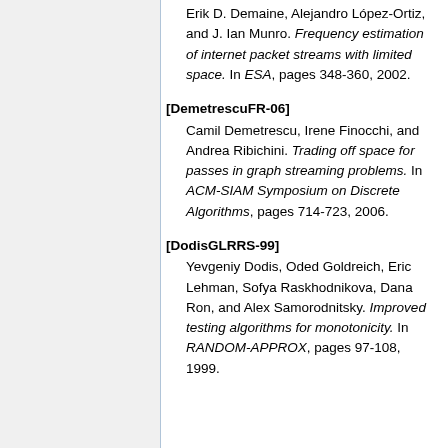Erik D. Demaine, Alejandro López-Ortiz, and J. Ian Munro. Frequency estimation of internet packet streams with limited space. In ESA, pages 348-360, 2002.
[DemetrescuFR-06] Camil Demetrescu, Irene Finocchi, and Andrea Ribichini. Trading off space for passes in graph streaming problems. In ACM-SIAM Symposium on Discrete Algorithms, pages 714-723, 2006.
[DodisGLRRS-99] Yevgeniy Dodis, Oded Goldreich, Eric Lehman, Sofya Raskhodnikova, Dana Ron, and Alex Samorodnitsky. Improved testing algorithms for monotonicity. In RANDOM-APPROX, pages 97-108, 1999.